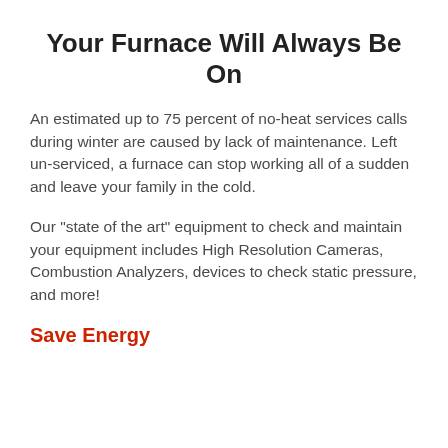Your Furnace Will Always Be On
An estimated up to 75 percent of no-heat services calls during winter are caused by lack of maintenance. Left un-serviced, a furnace can stop working all of a sudden and leave your family in the cold.
Our "state of the art" equipment to check and maintain your equipment includes High Resolution Cameras, Combustion Analyzers, devices to check static pressure, and more!
Save Energy